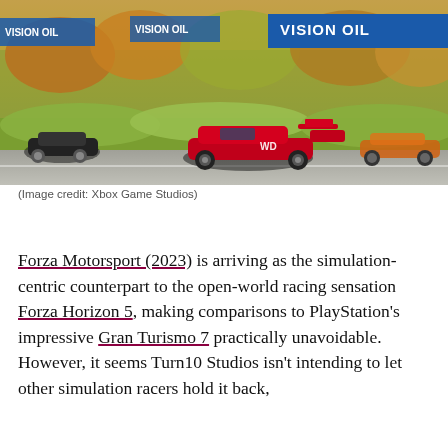[Figure (photo): Screenshot from Forza Motorsport (2023) showing racing cars on a circuit track, with a red prototype race car in the foreground, autumn trees and blue sponsor banners in background. VISION OIL banner visible on right.]
(Image credit: Xbox Game Studios)
Forza Motorsport (2023) is arriving as the simulation-centric counterpart to the open-world racing sensation Forza Horizon 5, making comparisons to PlayStation's impressive Gran Turismo 7 practically unavoidable. However, it seems Turn10 Studios isn't intending to let other simulation racers hold it back,